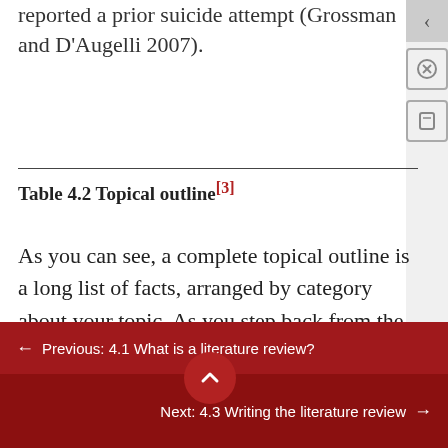reported a prior suicide attempt (Grossman and D'Augelli 2007).
Table 4.2 Topical outline[3]
As you can see, a complete topical outline is a long list of facts, arranged by category about your topic. As you step back from the outline, you should be able to identify the topic areas in which you have gathered sufficient information
← Previous: 4.1 What is a literature review?
Next: 4.3 Writing the literature review →